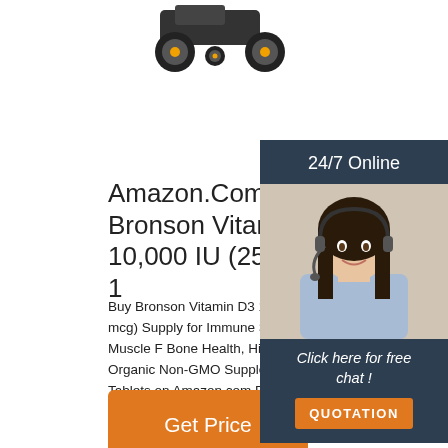[Figure (photo): Partial image of a toy tractor with black tires and yellow wheel hubs, cropped at top of page]
Amazon.Com: Bronson Vitam 10,000 IU (250 Mcg) 1
Buy Bronson Vitamin D3 10,000 IU (250 mcg) Supply for Immune Support, Healthy Muscle F Bone Health, High Potency Organic Non-GMO Supplement, 360 Tablets on Amazon.com FRE SHIPPING on qualified orders
[Figure (photo): Customer service representative woman wearing headset, smiling, with 24/7 Online text above and chat/quotation buttons below]
Get Price